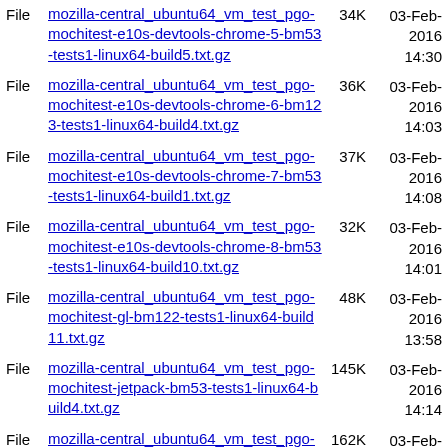File  mozilla-central_ubuntu64_vm_test_pgo-mochitest-e10s-devtools-chrome-5-bm53-tests1-linux64-build5.txt.gz  34K  03-Feb-2016 14:30
File  mozilla-central_ubuntu64_vm_test_pgo-mochitest-e10s-devtools-chrome-6-bm123-tests1-linux64-build4.txt.gz  36K  03-Feb-2016 14:03
File  mozilla-central_ubuntu64_vm_test_pgo-mochitest-e10s-devtools-chrome-7-bm53-tests1-linux64-build1.txt.gz  37K  03-Feb-2016 14:08
File  mozilla-central_ubuntu64_vm_test_pgo-mochitest-e10s-devtools-chrome-8-bm53-tests1-linux64-build10.txt.gz  32K  03-Feb-2016 14:01
File  mozilla-central_ubuntu64_vm_test_pgo-mochitest-gl-bm122-tests1-linux64-build11.txt.gz  48K  03-Feb-2016 13:58
File  mozilla-central_ubuntu64_vm_test_pgo-mochitest-jetpack-bm53-tests1-linux64-build4.txt.gz  145K  03-Feb-2016 14:14
File  mozilla-central_ubuntu64_vm_test_pgo-mochitest-other-bm117-tests1-linux64-build7.txt.gz  162K  03-Feb-2016 14:33
File  mozilla-central_ubuntu64_vm_test_pgo-mochitest-push-bm114-tests1-linux64-build5.txt.gz  19K  03-Feb-2016 13:55